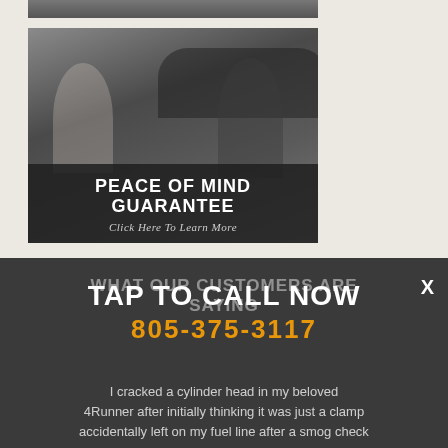[Figure (photo): Partial top edge of a photo showing a car in a garage]
[Figure (photo): Photo of a woman and a mechanic in a garage/auto shop, with a dark overlay banner reading PEACE OF MIND GUARANTEE and Click Here To Learn More]
WHAT OUR CUSTOMERS ARE SAYING
TAP TO CALL NOW
805-375-3117
I cracked a cylinder head in my beloved 4Runner after initially thinking it was just a clamp accidentally left on my fuel line after a smog check